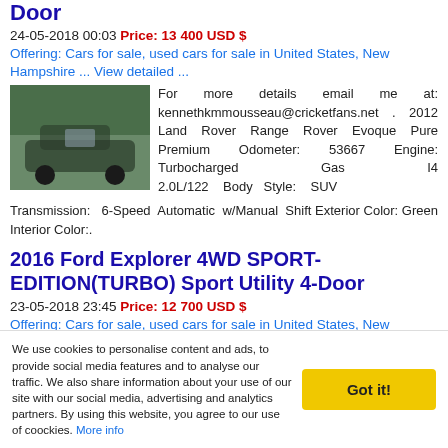Door
24-05-2018 00:03 Price: 13 400 USD $
Offering: Cars for sale, used cars for sale in United States, New Hampshire ... View detailed ...
[Figure (photo): Photo of a 2012 Land Rover Range Rover Evoque in green, parked outdoors]
For more details email me at: kennethkmmousseau@cricketfans.net . 2012 Land Rover Range Rover Evoque Pure Premium Odometer: 53667 Engine: Turbocharged Gas I4 2.0L/122 Body Style: SUV Transmission: 6-Speed Automatic w/Manual Shift Exterior Color: Green Interior Color:.
2016 Ford Explorer 4WD SPORT-EDITION(TURBO) Sport Utility 4-Door
23-05-2018 23:45 Price: 12 700 USD $
Offering: Cars for sale, used cars for sale in United States, New Hampshire ... View detailed ...
[Figure (photo): Photo of a 2016 Ford Explorer 4WD in dark color, parked outdoors]
If you have questions email email me at: blairbkkyzer@mancityfans.com .
We use cookies to personalise content and ads, to provide social media features and to analyse our traffic. We also share information about your use of our site with our social media, advertising and analytics partners. By using this website, you agree to our use of coockies. More info